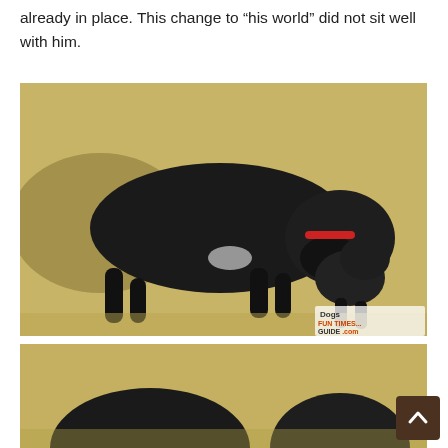already in place. This change to “his world” did not sit well with him.
[Figure (photo): Aerial view of a large black dog lying on dry grass/hay outdoors, with a small dark puppy standing nearby. Watermark reads 'Dogs FUN TIMES GUIDE .com' in bottom right corner.]
[Figure (photo): Partial view of two black dogs (an adult and a puppy) on dry grass, cropped at bottom of page.]